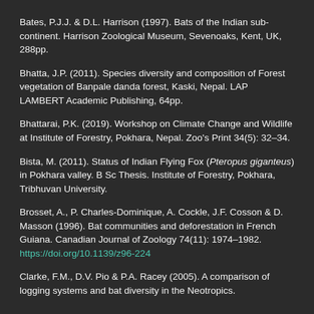Bates, P.J.J. & D.L. Harrison (1997). Bats of the Indian subcontinent. Harrison Zoological Museum, Sevenoaks, Kent, UK, 288pp.
Bhatta, J.P. (2011). Species diversity and composition of Forest vegetation of Banpale danda forest, Kaski, Nepal. LAP LAMBERT Academic Publishing, 64pp.
Bhattarai, P.K. (2019). Workshop on Climate Change and Wildlife at Institute of Forestry, Pokhara, Nepal. Zoo's Print 34(5): 32–34.
Bista, M. (2011). Status of Indian Flying Fox (Pteropus giganteus) in Pokhara valley. B Sc Thesis. Institute of Forestry, Pokhara, Tribhuvan University.
Brosset, A., P. Charles-Dominique, A. Cockle, J.F. Cosson & D. Masson (1996). Bat communities and deforestation in French Guiana. Canadian Journal of Zoology 74(11): 1974–1982. https://doi.org/10.1139/z96-224
Clarke, F.M., D.V. Pio & P.A. Racey (2005). A comparison of logging systems and bat diversity in the Neotropics.